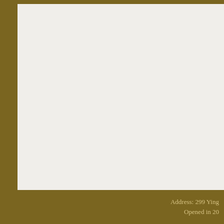"The IOC fully supports the [stressed. Seiko Hashimoto, p of the stage is complete," bu Japanese Prime Minister Yos the COVID-19 disease worse More than 10,000 athletes fr There will be 43 venues, mo National Stadium for the ope The Olympic Village in Haruh units in the village. There are people. Athletes are fed thre Japan's national anti-epidem The Japanese Olympic Com emergency" is still a key area
Prev:The 'The Fast and the F
→ Go Back
Address: 299 Ying
Opened in 20